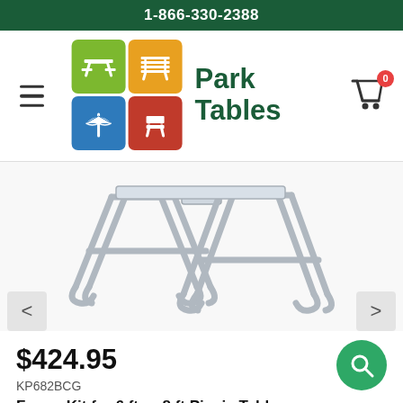1-866-330-2388
[Figure (logo): Park Tables logo: 2x2 grid of colored icons (green picnic table, orange bench, blue umbrella, red chair) beside 'Park Tables' green text]
[Figure (photo): Silver/galvanized metal picnic table frame kit showing two A-frame leg assemblies with connecting hardware, viewed from above at an angle]
$424.95
KP682BCG
Frame Kit for 6 ft or 8 ft Picnic Table